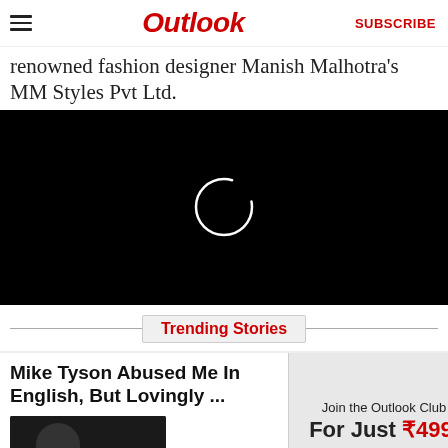Outlook | SUBSCRIBE
renowned fashion designer Manish Malhotra's MM Styles Pvt Ltd.
[Figure (screenshot): Black video player with loading spinner circle in center]
Trending Stories
Mike Tyson Abused Me In English, But Lovingly ...
[Figure (photo): Thumbnail image, dark]
[Figure (infographic): Join the Outlook Club For Just ₹499/]